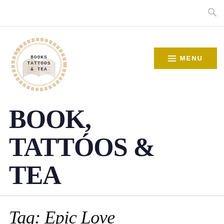[Figure (logo): Books Tattoos & Tea circular logo with coffee ring stain and open book illustration]
BOOK, TATTÓOS & TEA
Tag: Epic Love
[Figure (photo): Partial image of persons visible at bottom of page]